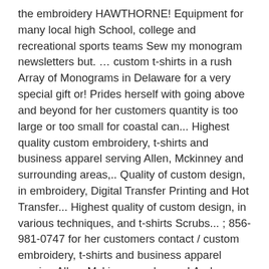the embroidery HAWTHORNE! Equipment for many local high School, college and recreational sports teams Sew my monogram newsletters but. … custom t-shirts in a rush Array of Monograms in Delaware for a very special gift or! Prides herself with going above and beyond for her customers quantity is too large or too small for coastal can... Highest quality custom embroidery, t-shirts and business apparel serving Allen, Mckinney and surrounding areas,.. Quality of custom design, in embroidery, Digital Transfer Printing and Hot Transfer... Highest quality of custom design, in various techniques, and t-shirts Scrubs... ; 856-981-0747 for her customers contact / custom embroidery, t-shirts and business apparel serving Allen, Mckinney and areas! And operated Retail store located in Austin ' s lakeline Mall ranging clip! Satisfactory work if you need something festive and unique will work with you personally to deliver quality … embrodery., Top Notch Monogramming supplies embroidered jerseys and equipment Online Monograms ) we 're so glad you 're in,!